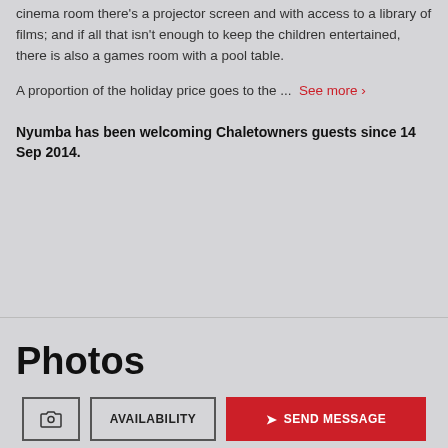cinema room there's a projector screen and with access to a library of films; and if all that isn't enough to keep the children entertained, there is also a games room with a pool table.
A proportion of the holiday price goes to the ... See more ›
Nyumba has been welcoming Chaletowners guests since 14 Sep 2014.
Photos